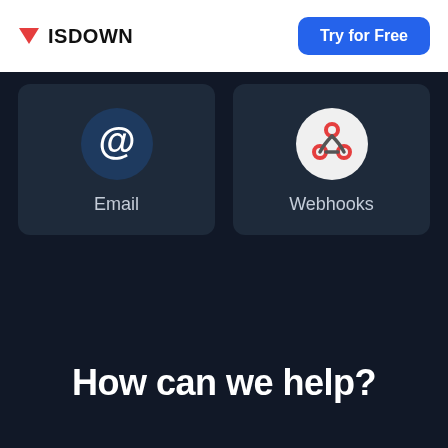ISDOWN | Try for Free
[Figure (screenshot): Email integration card with @ icon on dark background]
[Figure (screenshot): Webhooks integration card with webhook icon on dark background]
How can we help?